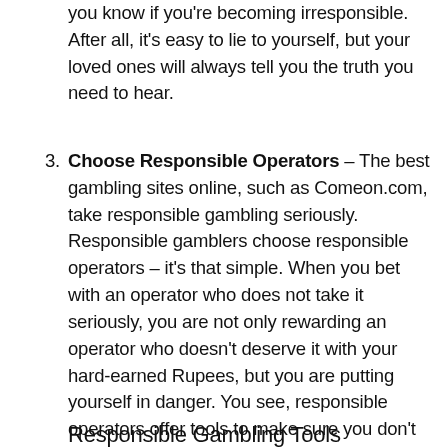you know if you're becoming irresponsible. After all, it's easy to lie to yourself, but your loved ones will always tell you the truth you need to hear.
3. Choose Responsible Operators – The best gambling sites online, such as Comeon.com, take responsible gambling seriously. Responsible gamblers choose responsible operators – it's that simple. When you bet with an operator who does not take it seriously, you are not only rewarding an operator who doesn't deserve it with your hard-earned Rupees, but you are putting yourself in danger. You see, responsible operators offer tools to make sure you don't stray into problem gambling, and resources to help you if you do. Some of these have been described below.
Responsible Gambling Tools